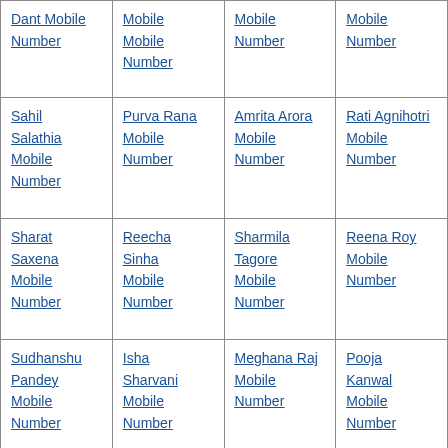| Dant Mobile Number | Mobile Mobile Number | Mobile Number | Mobile Number |
| Sahil Salathia Mobile Number | Purva Rana Mobile Number | Amrita Arora Mobile Number | Rati Agnihotri Mobile Number |
| Sharat Saxena Mobile Number | Reecha Sinha Mobile Number | Sharmila Tagore Mobile Number | Reena Roy Mobile Number |
| Sudhanshu Pandey Mobile Number | Isha Sharvani Mobile Number | Meghana Raj Mobile Number | Pooja Kanwal Mobile Number |
| Saurabh ... |  | Shweta ... |  |